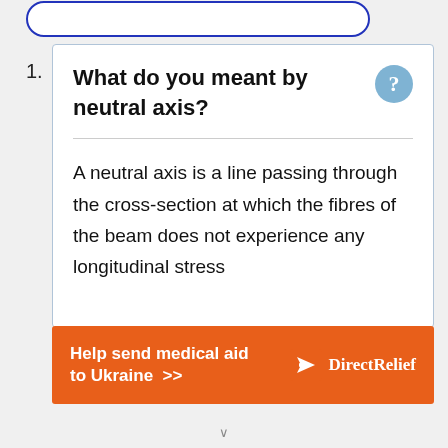1. What do you meant by neutral axis?
A neutral axis is a line passing through the cross-section at which the fibres of the beam does not experience any longitudinal stress
[Figure (other): Orange advertisement banner: Help send medical aid to Ukraine >> with Direct Relief logo]